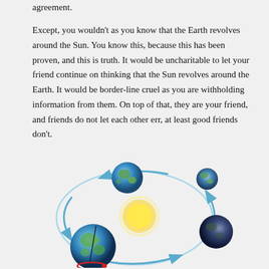agreement.
Except, you wouldn’t as you know that the Earth revolves around the Sun. You know this, because this has been proven, and this is truth. It would be uncharitable to let your friend continue on thinking that the Sun revolves around the Earth. It would be border-line cruel as you are withholding information from them. On top of that, they are your friend, and friends do not let each other err, at least good friends don’t.
[Figure (illustration): Diagram showing the Earth revolving around the Sun. Four globe images of the Earth are arranged in a circular orbit path with blue arrows indicating the direction of revolution. A yellow glowing Sun is at the center. The bottom-left Earth globe is larger and shows the Earth's axial tilt with a red rotation ring around its base.]